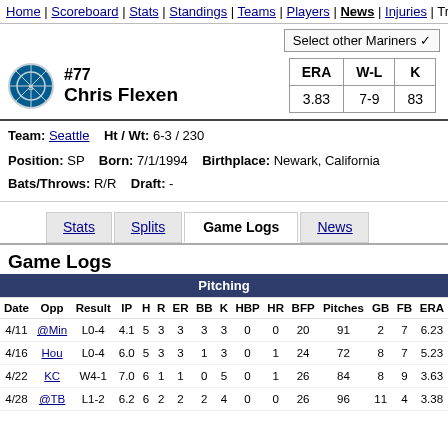Home | Scoreboard | Stats | Standings | Teams | Players | News | Injuries | Tra...
Select other Mariners
#77 Chris Flexen
| ERA | W-L | K |
| --- | --- | --- |
| 3.83 | 7-9 | 83 |
Team: Seattle   Ht / Wt: 6-3 / 230
Position: SP   Born: 7/1/1994   Birthplace: Newark, California
Bats/Throws: R/R   Draft: -
Stats | Splits | Game Logs | News
Game Logs
| Date | Opp | Result | IP | H | R | ER | BB | K | HBP | HR | BFP | Pitches | GB | FB | ERA |
| --- | --- | --- | --- | --- | --- | --- | --- | --- | --- | --- | --- | --- | --- | --- | --- |
| 4/11 | @Min | L0-4 | 4.1 | 5 | 3 | 3 | 3 | 3 | 0 | 0 | 20 | 91 | 2 | 7 | 6.23 |
| 4/16 | Hou | L0-4 | 6.0 | 5 | 3 | 3 | 1 | 3 | 0 | 1 | 24 | 72 | 8 | 7 | 5.23 |
| 4/22 | KC | W4-1 | 7.0 | 6 | 1 | 1 | 0 | 5 | 0 | 1 | 26 | 84 | 8 | 9 | 3.63 |
| 4/28 | @TB | L1-2 | 6.2 | 6 | 2 | 2 | 2 | 4 | 0 | 0 | 26 | 96 | 11 | 4 | 3.38 |